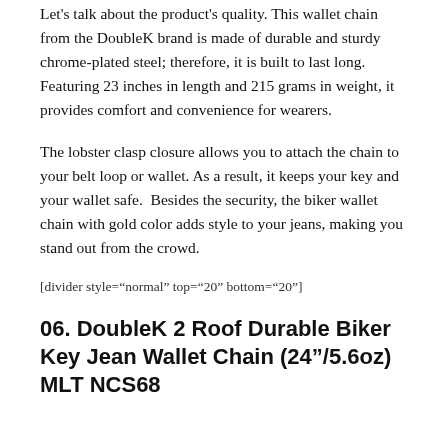Let's talk about the product's quality. This wallet chain from the DoubleK brand is made of durable and sturdy chrome-plated steel; therefore, it is built to last long. Featuring 23 inches in length and 215 grams in weight, it provides comfort and convenience for wearers.
The lobster clasp closure allows you to attach the chain to your belt loop or wallet. As a result, it keeps your key and your wallet safe.  Besides the security, the biker wallet chain with gold color adds style to your jeans, making you stand out from the crowd.
[divider style="normal" top="20" bottom="20"]
06. DoubleK 2 Roof Durable Biker Key Jean Wallet Chain (24"/5.6oz) MLT NCS68